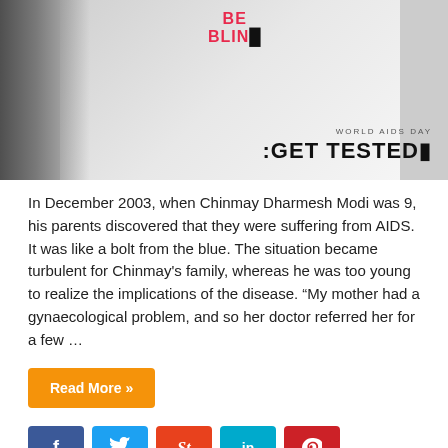[Figure (photo): Black and white photo of a woman holding her hand up showing text 'BE BLIND' written in red on her arm/hand. Bottom right overlay reads 'WORLD AIDS DAY GET TESTED' in bold black text.]
In December 2003, when Chinmay Dharmesh Modi was 9, his parents discovered that they were suffering from AIDS. It was like a bolt from the blue. The situation became turbulent for Chinmay's family, whereas he was too young to realize the implications of the disease. “My mother had a gynaecological problem, and so her doctor referred her for a few …
Read More »
[Figure (other): Social share buttons row: Facebook (blue), Twitter (light blue), StumbleUpon (red-orange), LinkedIn (teal), Pinterest (red)]